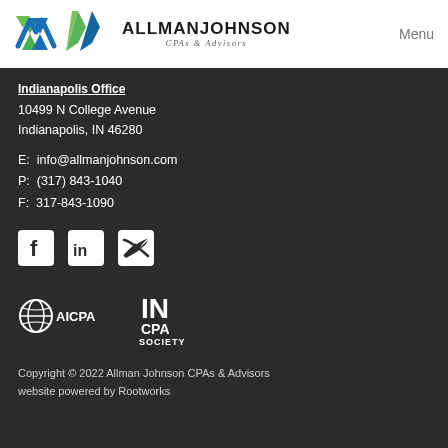[Figure (logo): Allman Johnson CPAs & Advisors logo with green and blue arrow mark]
Menu
Indianapolis Office
10499 N College Avenue
Indianapolis, IN 46280
E:  info@allmanjohnson.com
P:  (317) 843-1040
F:  317-843-1090
[Figure (other): Social media icons: Facebook, LinkedIn, Twitter]
[Figure (logo): AICPA logo and IN CPA Society logo]
Copyright © 2022 Allman Johnson CPAs & Advisors
website powered by Rootworks